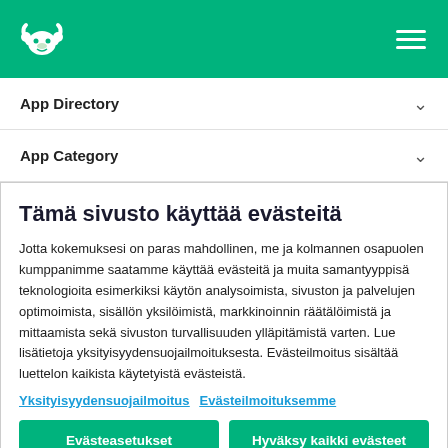SurveyMonkey logo and hamburger menu
App Directory
App Category
Tämä sivusto käyttää evästeitä
Jotta kokemuksesi on paras mahdollinen, me ja kolmannen osapuolen kumppanimme saatamme käyttää evästeitä ja muita samanyyppisiä teknologioita esimerkiksi käytön analysoimista, sivuston ja palvelujen optimoimista, sisällön yksilöimistä, markkinoinnin räätälöimistä ja mittaamista sekä sivuston turvallisuuden ylläpitämistä varten. Lue lisätietoja yksityisyydensuojailmoituksesta. Evästeilmoitus sisältää luettelon kaikista käytetyistä evästeistä.
Yksityisyydensuojailmoitus Evästeilmoituksemme
Evästeasetukset Hyväksy kaikki evästeet